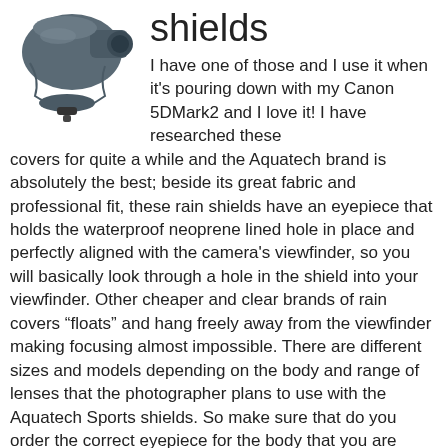[Figure (photo): Photo of a camera with a grey rain shield/rain cover attached, covering the lens and body, with the camera on a tripod.]
shields
I have one of those and I use it when it's pouring down with my Canon 5DMark2 and I love it! I have researched these covers for quite a while and the Aquatech brand is absolutely the best; beside its great fabric and professional fit, these rain shields have an eyepiece that holds the waterproof neoprene lined hole in place and perfectly aligned with the camera's viewfinder, so you will basically look through a hole in the shield into your viewfinder. Other cheaper and clear brands of rain covers “floats” and hang freely away from the viewfinder making focusing almost impossible. There are different sizes and models depending on the body and range of lenses that the photographer plans to use with the Aquatech Sports shields. So make sure that do you order the correct eyepiece for the body that you are using with the rain shield. to see exactly what model to get depending on the body (Canon /Nikon) and lenses plus eyepieces you can visit the Aquatech site (on the left hand side “Find an eyepiece” once you figured out what rain shield to get, you can select the body to see the exact model of eyepiece that you need also).